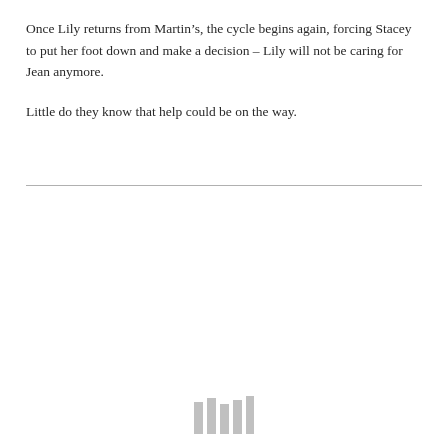Once Lily returns from Martin’s, the cycle begins again, forcing Stacey to put her foot down and make a decision – Lily will not be caring for Jean anymore.

Little do they know that help could be on the way.
[Figure (other): Five vertical gray bars of varying heights arranged in a row, resembling a barcode or decorative footer element.]